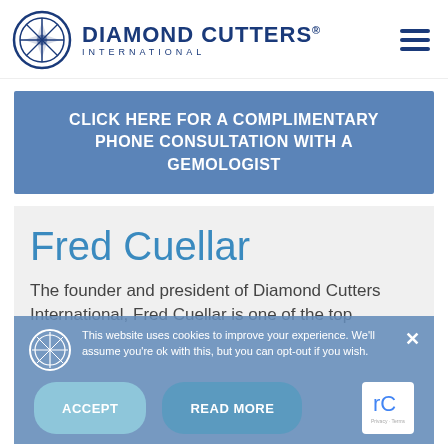Diamond Cutters International
CLICK HERE FOR A COMPLIMENTARY PHONE CONSULTATION WITH A GEMOLOGIST
Fred Cuellar
The founder and president of Diamond Cutters International, Fred Cuellar is one of the top jewelry design experts in the world and a three-time Guinness Book record holder in jewelry design.
This website uses cookies to improve your experience. We'll assume you're ok with this, but you can opt-out if you wish.